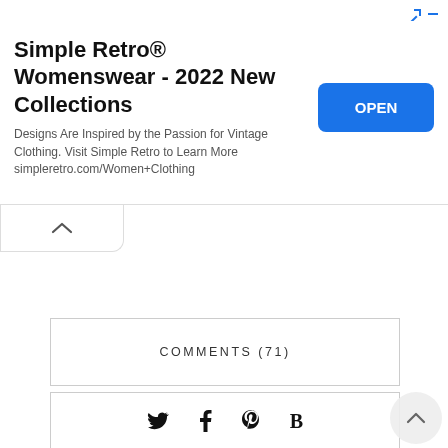[Figure (screenshot): Advertisement banner for Simple Retro® Womenswear - 2022 New Collections with an OPEN button]
COMMENTS (71)
Twitter, Facebook, Pinterest, Bloglovin social share icons
© MARCH 27, 2017
YOU MAY ALSO LIKE
[Figure (photo): Row of lifestyle/fashion photos at bottom of page]